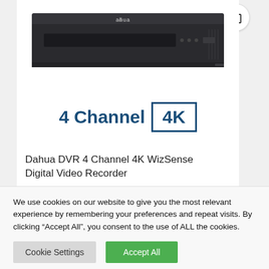[Figure (photo): Dahua DVR device hardware photo - black rectangular recorder unit with front panel controls and ventilation]
[Figure (infographic): 4 Channel 4K badge - bold dark blue text '4 Channel' next to a bordered box containing '4K' in dark blue]
Dahua DVR 4 Channel 4K WizSense Digital Video Recorder
We use cookies on our website to give you the most relevant experience by remembering your preferences and repeat visits. By clicking “Accept All”, you consent to the use of ALL the cookies.